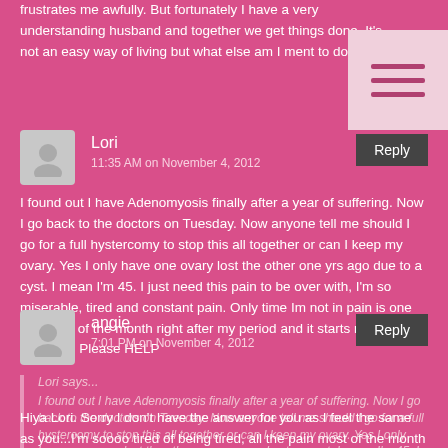frustrates me awfully. But fortunately I have a very understanding husband and together we get things done. It's not an easy way of living but what else am I ment to do???? x
Lori
11:35 AM on November 4, 2012
I found out I have Adenomyosis finally after a year of suffering. Now I go back to the doctors on Tuesday. Now anyone tell me should I go for a full hystercomy to stop this all together or can I keep my ovary. Yes I only have one ovary lost the other one yrs ago due to a cyst. I mean I'm 45. I just need this pain to be over with, I'm so miserable, tired and constant pain. Only time Im not in pain is one week out of the month right after my period and it starts right back up again. Please HELP
angie
7:01 PM on November 4, 2012
Lori says...
I found out I have Adenomyosis finally after a year of suffering. Now I go back to the doctors on Tuesday. Now anyone tell me should I go for a full hystercomy to stop this all together or can I keep my ovary. Yes I only have one ovary lost the other one yrs ago due to a cyst. I mean I'm 45. I just need this pain to be over with, I'm so miserable, tired and constant pain. Only time Im not in pain is one week out of the month right after my period and it starts right back up again. Please HELP
Hiya Lori. Sorry I don't have the answer for you as I feel the same as you...I'm soooo tired of being tired, all the pain most of the month etc. So